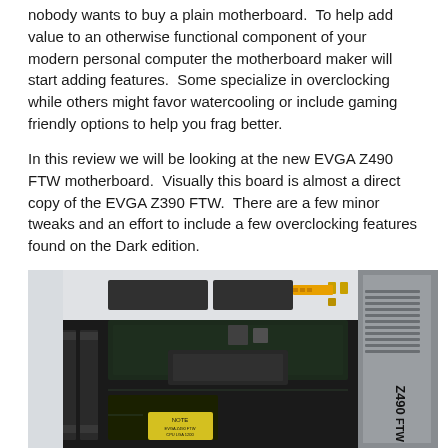nobody wants to buy a plain motherboard.  To help add value to an otherwise functional component of your modern personal computer the motherboard maker will start adding features.  Some specialize in overclocking while others might favor watercooling or include gaming friendly options to help you frag better.
In this review we will be looking at the new EVGA Z490 FTW motherboard.  Visually this board is almost a direct copy of the EVGA Z390 FTW.  There are a few minor tweaks and an effort to include a few overclocking features found on the Dark edition.
[Figure (photo): Close-up photograph of the EVGA Z490 FTW motherboard showing black PCB with yellow capacitors, heatsinks, RAM slots, and the EVGA Z490 FTW branding on the silver I/O cover on the right side.]